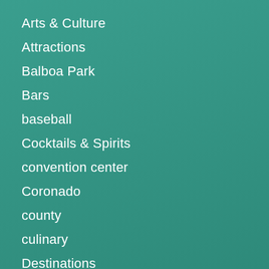Arts & Culture
Attractions
Balboa Park
Bars
baseball
Cocktails & Spirits
convention center
Coronado
county
culinary
Destinations
Dining